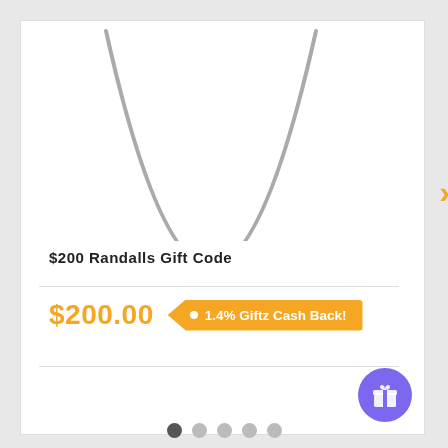[Figure (illustration): Bottom half of a circular arc (bowl shape) in gray, representing a product image placeholder or gift card graphic]
$200 Randalls Gift Code
$200.00
1.4% Giftz Cash Back!